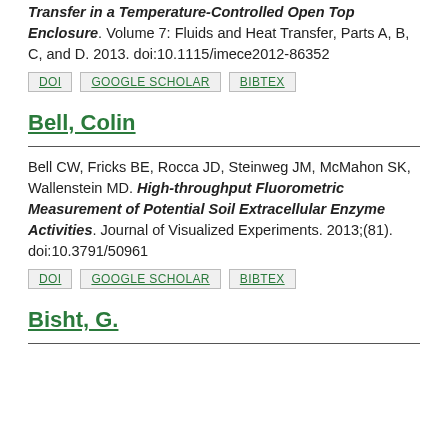Transfer in a Temperature-Controlled Open Top Enclosure. Volume 7: Fluids and Heat Transfer, Parts A, B, C, and D. 2013. doi:10.1115/imece2012-86352
DOI | GOOGLE SCHOLAR | BIBTEX
Bell, Colin
Bell CW, Fricks BE, Rocca JD, Steinweg JM, McMahon SK, Wallenstein MD. High-throughput Fluorometric Measurement of Potential Soil Extracellular Enzyme Activities. Journal of Visualized Experiments. 2013;(81). doi:10.3791/50961
DOI | GOOGLE SCHOLAR | BIBTEX
Bisht, G.